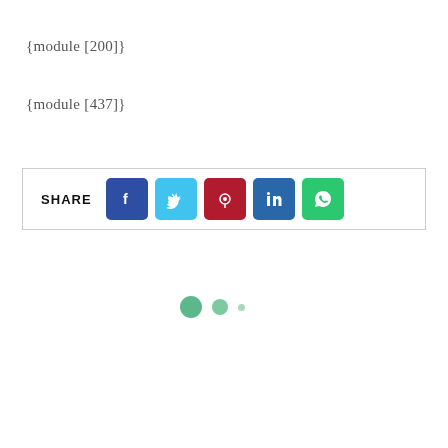{module [200]}
{module [437]}
[Figure (other): Social share bar with SHARE label and five icon buttons: Facebook (dark blue), Twitter (light blue), Pinterest (dark red), LinkedIn (dark blue), WhatsApp (green). Also three dots of decreasing size in green tones below.]